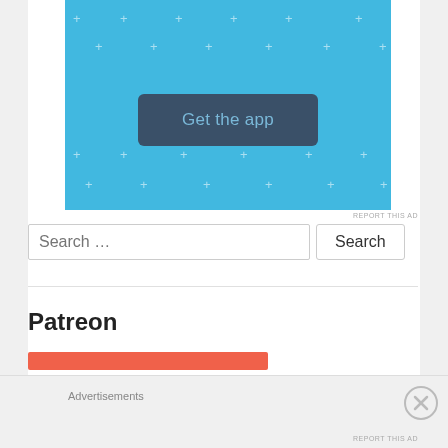[Figure (screenshot): Blue app advertisement banner with sparkle plus signs and a dark blue 'Get the app' button]
REPORT THIS AD
Search …
Patreon
[Figure (other): Patreon logo with red/orange bar]
Advertisements
REPORT THIS AD